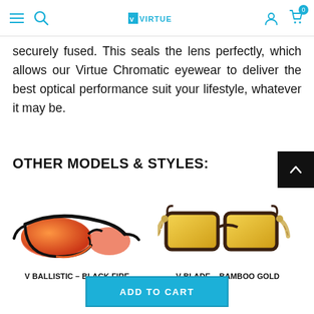Virtue eyewear navigation bar with menu, search, logo, account, and cart icons
securely fused. This seals the lens perfectly, which allows our Virtue Chromatic eyewear to deliver the best optical performance suit your lifestyle, whatever it may be.
OTHER MODELS & STYLES:
[Figure (photo): V Ballistic - Black Fire sunglasses with black frame and red/orange mirror lenses]
V BALLISTIC – BLACK FIRE
[Figure (photo): V Blade - Bamboo Gold sunglasses with tortoise/dark frame, bamboo temples, and gold mirror lenses]
V BLADE – BAMBOO GOLD
ADD TO CART